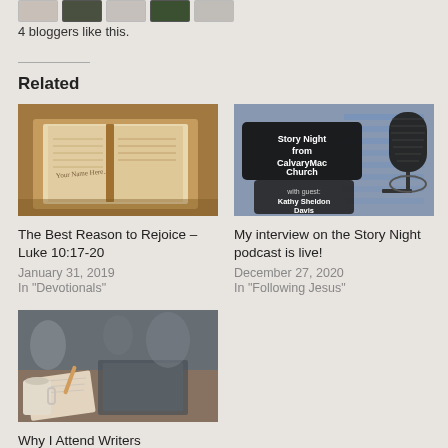4 bloggers like this.
Related
[Figure (photo): Open book resting on a wooden surface, worn pages visible]
The Best Reason to Rejoice – Luke 10:17-20
January 31, 2019
In "Devotionals"
[Figure (photo): Story Night from CalvaryMac Church podcast artwork with microphone, guest Kathy Sheldon Davis]
My interview on the Story Night podcast is live!
December 27, 2020
In "Following Jesus"
[Figure (photo): People at a writers conference sitting around a table with laptops and notebooks, coffee cup visible]
Why I Attend Writers Conferences – Hebrews